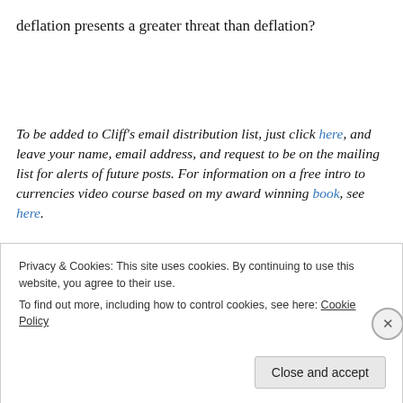deflation presents a greater threat than deflation?
To be added to Cliff’s email distribution list, just click here, and leave your name, email address, and request to be on the mailing list for alerts of future posts. For information on a free intro to currencies video course based on my award winning book, see here.
Privacy & Cookies: This site uses cookies. By continuing to use this website, you agree to their use.
To find out more, including how to control cookies, see here: Cookie Policy
Close and accept